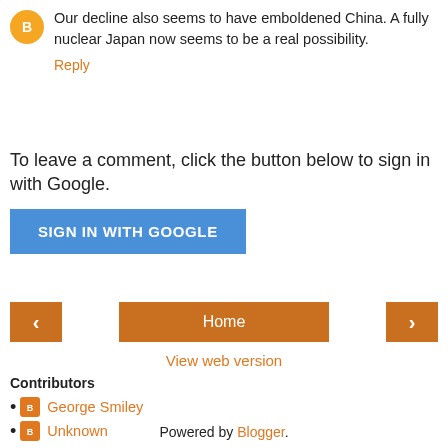Our decline also seems to have emboldened China. A fully nuclear Japan now seems to be a real possibility.
Reply
To leave a comment, click the button below to sign in with Google.
[Figure (other): Blue 'SIGN IN WITH GOOGLE' button]
[Figure (other): Navigation bar with left arrow, Home button, and right arrow]
View web version
Contributors
George Smiley
Unknown
Powered by Blogger.